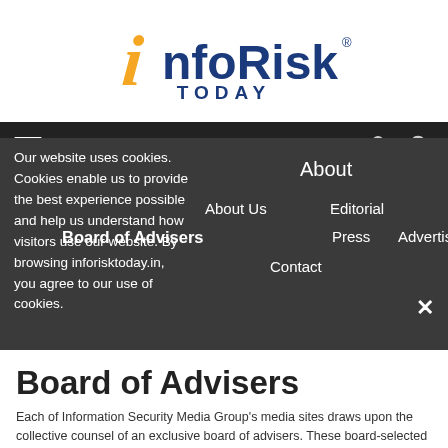[Figure (logo): InfoRisk Today logo with orange italic i and blue text]
Navigation bar with hamburger menu, person icon, and search icon
Our website uses cookies. Cookies enable us to provide the best experience possible and help us understand how visitors use our website. By browsing inforisktoday.in, you agree to our use of cookies.
About
About Us
Editorial
Board of Advisers
Press
Advertise
Contact
Board of Advisers
Each of Information Security Media Group's media sites draws upon the collective counsel of an exclusive board of advisers. These board-selected senior information security